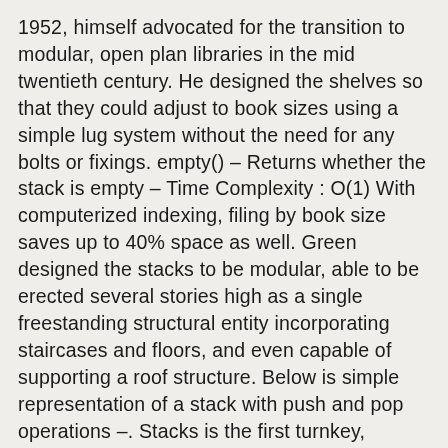1952, himself advocated for the transition to modular, open plan libraries in the mid twentieth century. He designed the shelves so that they could adjust to book sizes using a simple lug system without the need for any bolts or fixings. empty() – Returns whether the stack is empty – Time Complexity : O(1) With computerized indexing, filing by book size saves up to 40% space as well. Green designed the stacks to be modular, able to be erected several stories high as a single freestanding structural entity incorporating staircases and floors, and even capable of supporting a roof structure. Below is simple representation of a stack with push and pop operations –. Stacks is the first turnkey, responsive web platform with plug and play integrations and mobile apps connected in real time. A stack is a linear data structure that serves as a collection of elements, with three main operations: The push and pop operations occur only at one end of the structure, referred to as the top of the stack. // Utility function to return the size of the stack, // Utility function to check if the stack is empty or not, // Utility function to check if the stack is full or not, // Utility function to add an element x in the stack, // check if stack is already full. Tests whether two stacks are equal